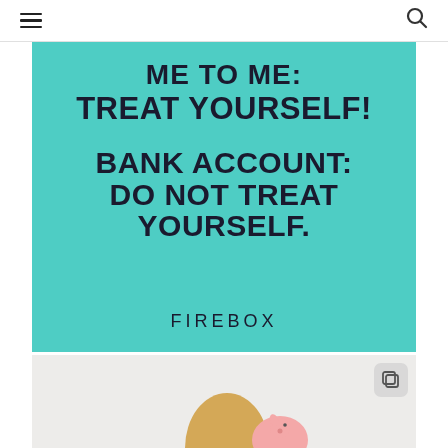Navigation header with hamburger menu and search icon
[Figure (illustration): Teal/turquoise advertisement with bold dark text reading 'ME TO ME: TREAT YOURSELF! BANK ACCOUNT: DO NOT TREAT YOURSELF.' with FIREBOX brand name at the bottom]
[Figure (photo): Partial photo on light gray background showing a person (blonde hair) holding a pink piggy bank, with a copy/duplicate icon in the top right corner]